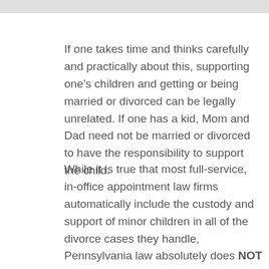If one takes time and thinks carefully and practically about this, supporting one’s children and getting or being married or divorced can be legally unrelated. If one has a kid, Mom and Dad need not be married or divorced to have the responsibility to support the child.
While it is true that most full-service, in-office appointment law firms automatically include the custody and support of minor children in all of the divorce cases they handle, Pennsylvania law absolutely does NOT require that your children even be mentioned in a Pennsylvania divorce